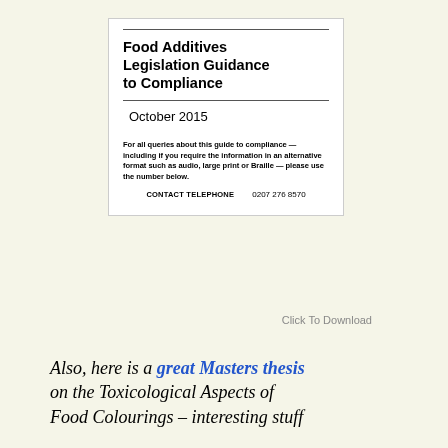Food Additives Legislation Guidance to Compliance
October 2015
For all queries about this guide to compliance — including if you require the information in an alternative format such as audio, large print or Braille — please use the number below.
CONTACT TELEPHONE   0207 276 8570
Click To Download
Also, here is a great Masters thesis on the Toxicological Aspects of Food Colourings – interesting stuff